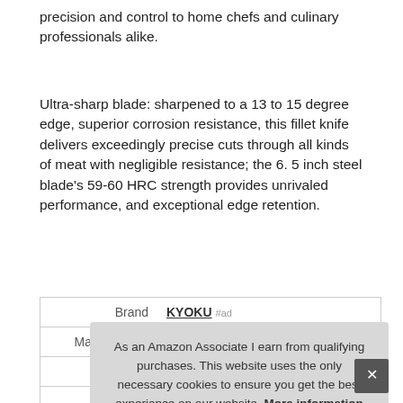precision and control to home chefs and culinary professionals alike.
Ultra-sharp blade: sharpened to a 13 to 15 degree edge, superior corrosion resistance, this fillet knife delivers exceedingly precise cuts through all kinds of meat with negligible resistance; the 6. 5 inch steel blade's 59-60 HRC strength provides unrivaled performance, and exceptional edge retention.
|  |  |
| --- | --- |
| Brand | KYOKU #ad |
| Manufacturer | KYOKU #ad |
| Width | 1.8 Inches |
As an Amazon Associate I earn from qualifying purchases. This website uses the only necessary cookies to ensure you get the best experience on our website. More information